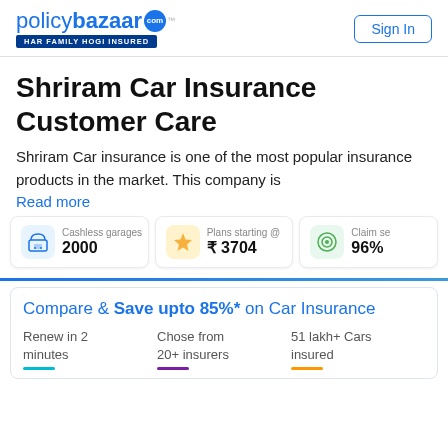policybazaar.com | HAR FAMILY HOGI INSURED | Sign In
Shriram Car Insurance Customer Care
Shriram Car insurance is one of the most popular insurance products in the market. This company is
Read more
[Figure (infographic): Three stat cards: Cashless garages 2000, Plans starting @ ₹ 3704, Claim se[ttlement] 96%]
Compare & Save upto 85%* on Car Insurance
Renew in 2 minutes | Chose from 20+ insurers | 51 lakh+ Cars insured